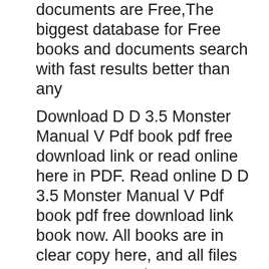documents are Free,The biggest database for Free books and documents search with fast results better than any
Download D D 3.5 Monster Manual V Pdf book pdf free download link or read online here in PDF. Read online D D 3.5 Monster Manual V Pdf book pdf free download link book now. All books are in clear copy here, and all files are secure so don't worry about it. This site is like a library, you could find million book here by using search box in the Dungeon And Dragons 3 5 Monster Manual 1 Pdf.pdf - search pdf books free download Free eBook and manual for Business, Education,Finance, Inspirational, Novel, Religion, Social, Sports, Science,